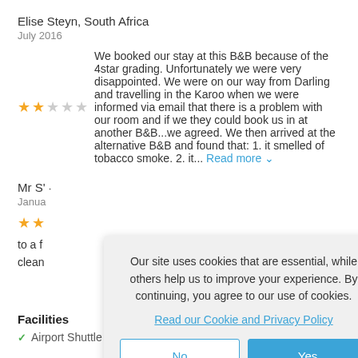Elise Steyn, South Africa
July 2016
We booked our stay at this B&amp;B because of the 4star grading. Unfortunately we were very disappointed. We were on our way from Darling and travelling in the Karoo when we were informed via email that there is a problem with our room and if we they could book us in at another B&amp;B...we agreed. We then arrived at the alternative B&amp;B and found that: 1. it smelled of tobacco smoke. 2. it... Read more
Mr S'
Janua
Our site uses cookies that are essential, while others help us to improve your experience. By continuing, you agree to our use of cookies. Read our Cookie and Privacy Policy
Facilities
Airport Shuttle